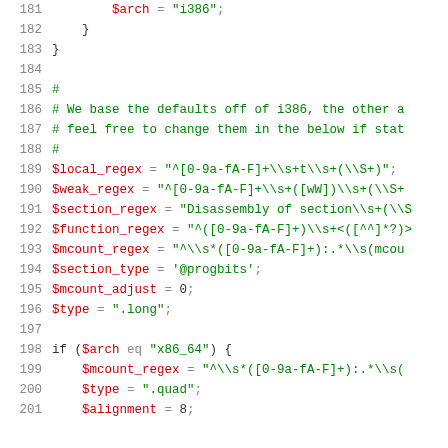[Figure (screenshot): Source code listing in Perl/shell script with line numbers 181-201, showing variable assignments for architecture detection and regex patterns. Dark background code editor style with syntax highlighting: red for variables like $arch, $local_regex, etc., and green for string values.]